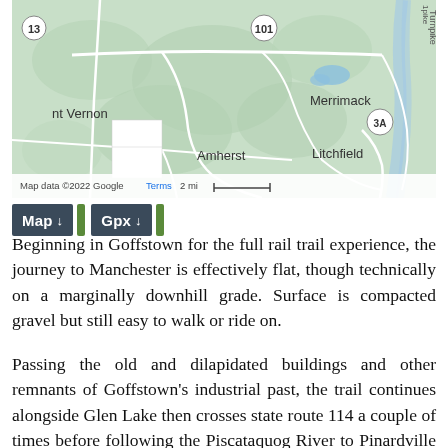[Figure (map): Topographic map showing Goffstown area in New Hampshire with towns labeled: nt Vernon, Amherst, Merrimack, Litchfield. Route markers 13, 101, 3A visible. Map data ©2022 Google, scale 2 mi.]
Map ↓  Gpx ↓
Beginning in Goffstown for the full rail trail experience, the journey to Manchester is effectively flat, though technically on a marginally downhill grade. Surface is compacted gravel but still easy to walk or ride on.
Passing the old and dilapidated buildings and other remnants of Goffstown's industrial past, the trail continues alongside Glen Lake then crosses state route 114 a couple of times before following the Piscataquog River to Pinardville and ultimately terminating across the